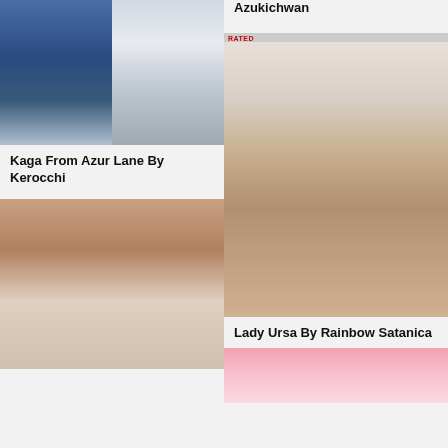[Figure (photo): Cosplay photo collage of Kaga from Azur Lane, two side-by-side images, beach setting]
Kaga From Azur Lane By Kerocchi
[Figure (photo): Two side-by-side photos of a blonde woman in cat girl cosplay on a bed]
Azukichwan
[Figure (photo): Full body photo of woman with rainbow hair in Lady Ursa cosplay with leather harness]
Lady Ursa By Rainbow Satanica
[Figure (photo): Partial view of a figure in a pink background scene, bottom of page]